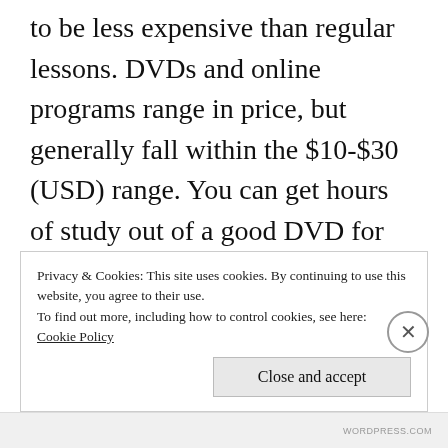to be less expensive than regular lessons. DVDs and online programs range in price, but generally fall within the $10-$30 (USD) range. You can get hours of study out of a good DVD for that one price, whereas regular classes can range $5-$20 a class depending on the teacher, the size of the class, the venue, and the city. There are also free online options for self-study if one wants to try learning without the investment.
Privacy & Cookies: This site uses cookies. By continuing to use this website, you agree to their use.
To find out more, including how to control cookies, see here:
Cookie Policy
Close and accept
WORDPRESS.COM